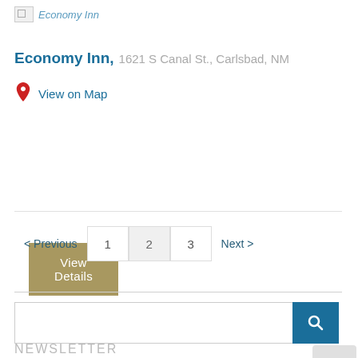[Figure (other): Broken image placeholder with text 'Economy Inn']
Economy Inn, 1621 S Canal St., Carlsbad, NM
View on Map
View Details
< Previous  1  2  3  Next >
[Figure (other): Search bar with blue search button]
NEWSLETTER